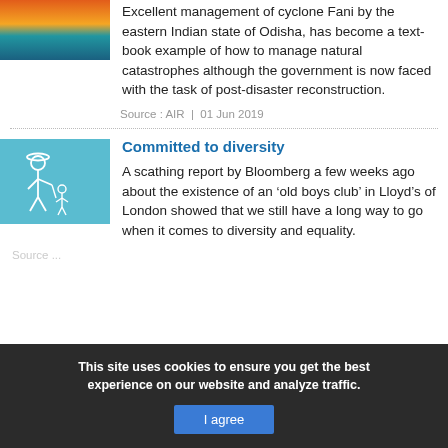[Figure (photo): Partial image at top left showing orange, red and teal tones (cyclone/landscape imagery)]
Excellent management of cyclone Fani by the eastern Indian state of Odisha, has become a text-book example of how to manage natural catastrophes although the government is now faced with the task of post-disaster reconstruction.
Source : AIR | 01 Jun 2019
[Figure (illustration): Illustration of two figures on a teal/cyan background, one tall figure and one small figure]
Committed to diversity
A scathing report by Bloomberg a few weeks ago about the existence of an ‘old boys club’ in Lloyd’s of London showed that we still have a long way to go when it comes to diversity and equality.
Source ...
This site uses cookies to ensure you get the best experience on our website and analyze traffic.
I agree